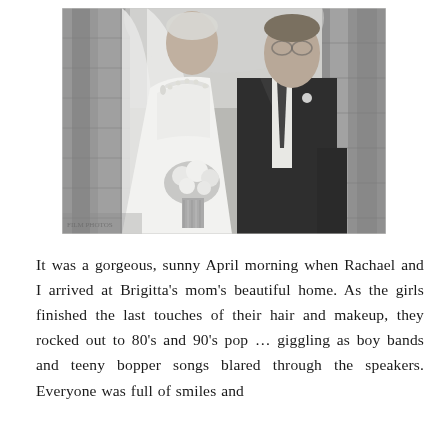[Figure (photo): Black and white wedding photo of a bride in a white strapless gown with a pearl necklace and veil, holding a bouquet of flowers, standing next to a groom in a dark suit with a tie and boutonnière, posed in front of stone arches.]
It was a gorgeous, sunny April morning when Rachael and I arrived at Brigitta's mom's beautiful home. As the girls finished the last touches of their hair and makeup, they rocked out to 80's and 90's pop … giggling as boy bands and teeny bopper songs blared through the speakers. Everyone was full of smiles and